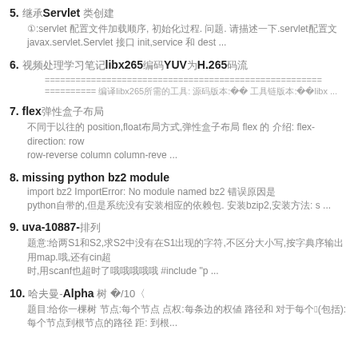5. 继承Servlet 类创建
①:servlet 配置文件加载顺序, 初始化过程. 问题. 请描述一下.servlet配置
javax.servlet.Servlet 接口 init,service 和 dest ...
6. 视频处理学习笔记libx265编码YUV为H.265码流
======================================================
========== 编译libx265所需的工具: 源码版本:00 工具链版本:00libx ...
7. flex弹性盒子布局
不同于以往的 position,float布局方式,弹性盒子布局 flex 的 介绍: flex-direction: row row-reverse column column-reve ...
8. missing python bz2 module
import bz2 ImportError: No module named bz2 错误原因是
python自带的,但是系统没有安装相应的依赖包. 安装bzip2,安装方法: s ...
9. uva-10887-排列
题意:给两S1和S2,求S2中没有在S1出现的字符,不区分大小写,按字典序输出 用map.哦,还有cin超
时,用scanf也超时了哦哦哦哦哦 #include "p ...
10. 哈夫曼-Alpha 树 【7/10】
题目:给你一颗树 节点:每个节点 点权:每条边的权值 路径和 对于每个点1(包括): 每个节点到根节点的路径 距: 到根...